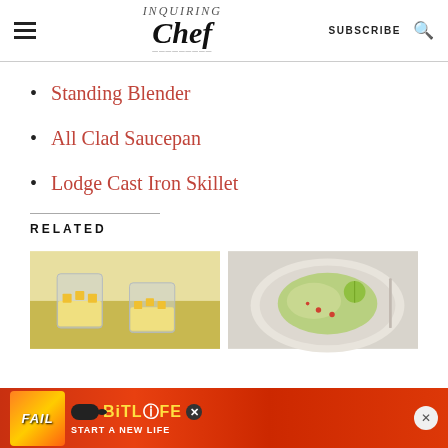Inquiring Chef — SUBSCRIBE
Standing Blender
All Clad Saucepan
Lodge Cast Iron Skillet
RELATED
[Figure (photo): Two glasses of pineapple mousse topped with pineapple chunks]
[Figure (photo): A plate of green papaya salad with lime and red peppers]
[Figure (photo): Advertisement banner: BitLife - Start a New Life game ad with FAIL text and cartoon character]